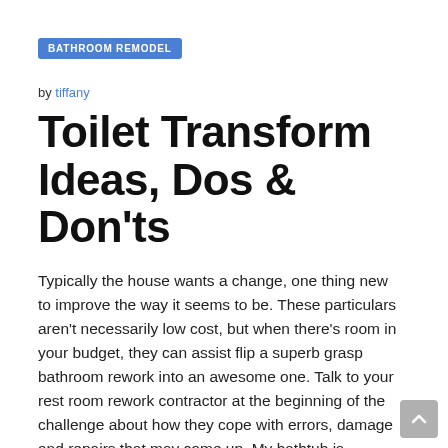BATHROOM REMODEL
by tiffany
Toilet Transform Ideas, Dos & Don'ts
Typically the house wants a change, one thing new to improve the way it seems to be. These particulars aren't necessarily low cost, but when there's room in your budget, they can assist flip a superb grasp bathroom rework into an awesome one. Talk to your rest room rework contractor at the beginning of the challenge about how they cope with errors, damage and repairs that may come up. My bathtub is massive with 2 sinks and good cabinet house. Transferring the bathroom from one wall to a